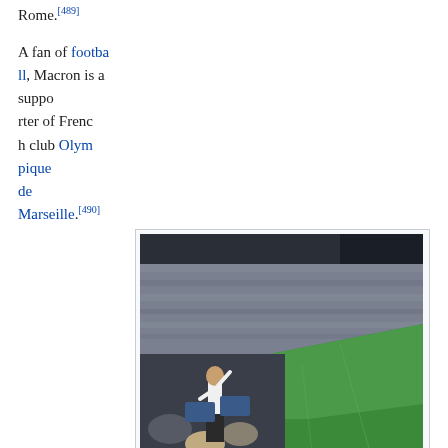Rome.[489]
A fan of football, Macron is a supporter of French club Olympique de Marseille.[490] During the 2018 World Cup, he attended the semi-final between France and Belgium with the Belgian King Philippe and Queen Mathilde,[491] and at the World Cup final against Croatia, he sat and celebrated alongside Croatian president Kolinda Grabar-Kitarović. Macron received
[Figure (photo): Macron celebrating France's victory over Croatia in the 2018 World Cup final in Moscow, Russia. A man in a white shirt and suspenders stands with arms raised in celebration in a VIP box, with the packed stadium and green football pitch visible in the background.]
Macron celebrating France's victory over Croatia in the 2018 World Cup final in Moscow, Russia